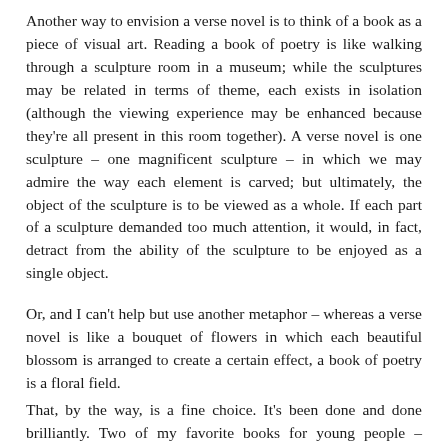Another way to envision a verse novel is to think of a book as a piece of visual art. Reading a book of poetry is like walking through a sculpture room in a museum; while the sculptures may be related in terms of theme, each exists in isolation (although the viewing experience may be enhanced because they're all present in this room together). A verse novel is one sculpture – one magnificent sculpture – in which we may admire the way each element is carved; but ultimately, the object of the sculpture is to be viewed as a whole. If each part of a sculpture demanded too much attention, it would, in fact, detract from the ability of the sculpture to be enjoyed as a single object.
Or, and I can't help but use another metaphor – whereas a verse novel is like a bouquet of flowers in which each beautiful blossom is arranged to create a certain effect, a book of poetry is a floral field.
That, by the way, is a fine choice. It's been done and done brilliantly. Two of my favorite books for young people – Marilyn Nelson's My Seneca Village and Nikki Grimes's One Last Word are enduring examples of poetry collections, centered on a theme. They are marvelous books of poetry; I do not consider them verse novels. They paint pictures;